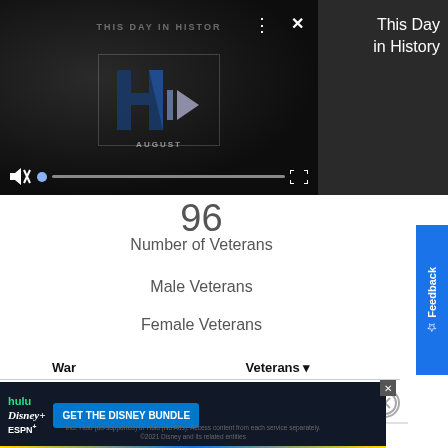[Figure (screenshot): Video player showing 'This Day in History' with play controls, progress bar, mute button and fullscreen icon on dark background. Shows 'AUGUST' text and logo.]
This Day in History
96
Number of Veterans
Male Veterans
Female Veterans
| War | Veterans ▼ |
| --- | --- |
| Vietnam | 20 |
[Figure (screenshot): Advertisement banner: hulu Disney+ ESPN+ GET THE DISNEY BUNDLE. Incl. Hulu (ad-supported) or Hulu (No Ads). Access content from each service separately. ©2021 Disney and its related entities]